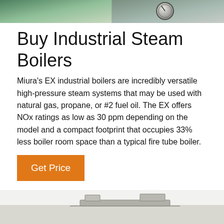[Figure (photo): Top portion of industrial steam boiler equipment photo, showing green/teal boiler body on left and a pressure gauge on right, cropped at top of page]
Buy Industrial Steam Boilers
Miura's EX industrial boilers are incredibly versatile high-pressure steam systems that may be used with natural gas, propane, or #2 fuel oil. The EX offers NOx ratings as low as 30 ppm depending on the model and a compact footprint that occupies 33% less boiler room space than a typical fire tube boiler.
[Figure (other): Orange 'Get Price' button]
[Figure (photo): Bottom portion of page showing industrial boiler equipment, partially visible at bottom edge of page]